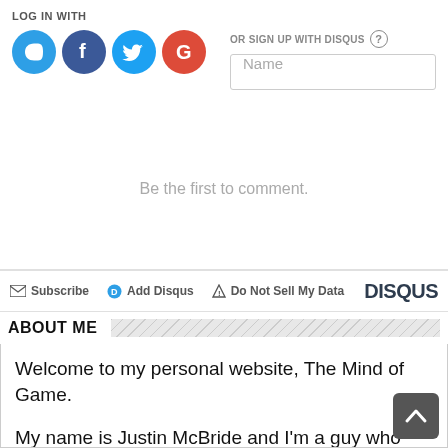[Figure (screenshot): Disqus login widget with LOG IN WITH label, social icons (Disqus D, Facebook f, Twitter bird, Google G), and OR SIGN UP WITH DISQUS label with Name input field]
Be the first to comment.
[Figure (screenshot): Disqus bottom bar with Subscribe, Add Disqus, Do Not Sell My Data links and DISQUS logo]
ABOUT ME
Welcome to my personal website, The Mind of Game.
My name is Justin McBride and I'm a guy who loves writing, playing games and writing about